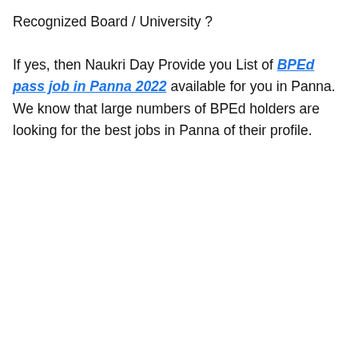Recognized Board / University ? If yes, then Naukri Day Provide you List of BPEd pass job in Panna 2022 available for you in Panna. We know that large numbers of BPEd holders are looking for the best jobs in Panna of their profile.